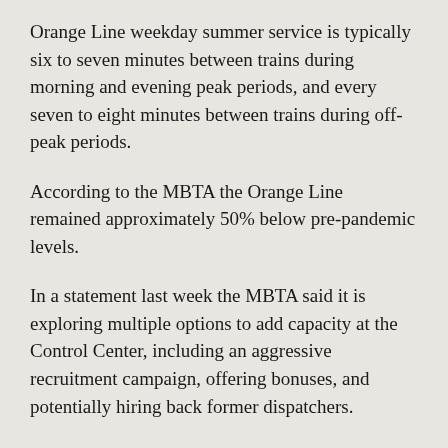Orange Line weekday summer service is typically six to seven minutes between trains during morning and evening peak periods, and every seven to eight minutes between trains during off-peak periods.
According to the MBTA the Orange Line remained approximately 50% below pre-pandemic levels.
In a statement last week the MBTA said it is exploring multiple options to add capacity at the Control Center, including an aggressive recruitment campaign, offering bonuses, and potentially hiring back former dispatchers.
“If dispatch capacity permits, there may be days when the MBTA can increase the number of trains in service,” said the statement. “And as soon as sufficient dispatch capacity exists, the MBTA will revert to its